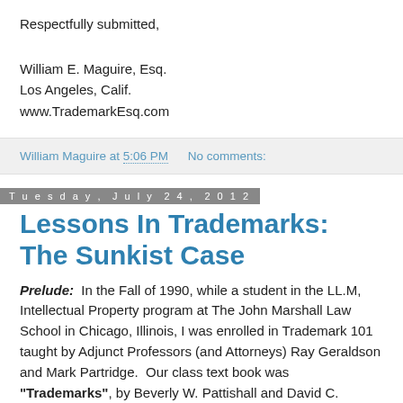Respectfully submitted,
William E. Maguire, Esq.
Los Angeles, Calif.
www.TrademarkEsq.com
William Maguire at 5:06 PM   No comments:
Tuesday, July 24, 2012
Lessons In Trademarks: The Sunkist Case
Prelude:  In the Fall of 1990, while a student in the LL.M, Intellectual Property program at The John Marshall Law School in Chicago, Illinois, I was enrolled in Trademark 101 taught by Adjunct Professors (and Attorneys) Ray Geraldson and Mark Partridge.  Our class text book was "Trademarks", by Beverly W. Pattishall and David C. Hilliard (Copyr. 1987). One of our favorite cases and the subject of this blog post...